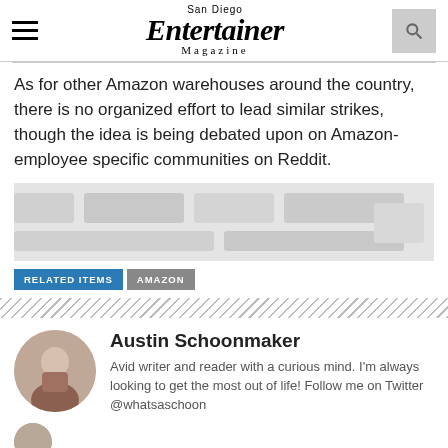San Diego Entertainer Magazine
As for other Amazon warehouses around the country, there is no organized effort to lead similar strikes, though the idea is being debated upon on Amazon-employee specific communities on Reddit.
[Figure (photo): Blurred/redacted image placeholder]
RELATED ITEMS   AMAZON
[Figure (photo): Diagonal stripe divider]
Austin Schoonmaker
Avid writer and reader with a curious mind. I'm always looking to get the most out of life! Follow me on Twitter @whatsaschoon